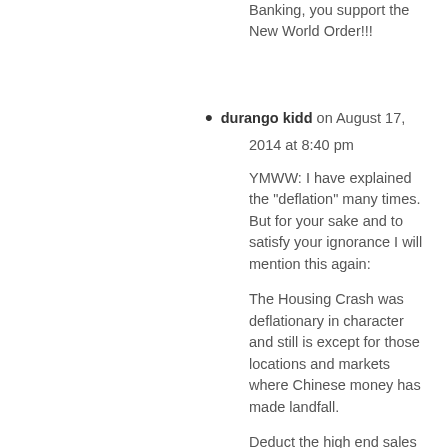Banking, you support the New World Order!!!
durango kidd on August 17, 2014 at 8:40 pm

YMWW: I have explained the “deflation” many times. But for your sake and to satisfy your ignorance I will mention this again:

The Housing Crash was deflationary in character and still is except for those locations and markets where Chinese money has made landfall.

Deduct the high end sales in